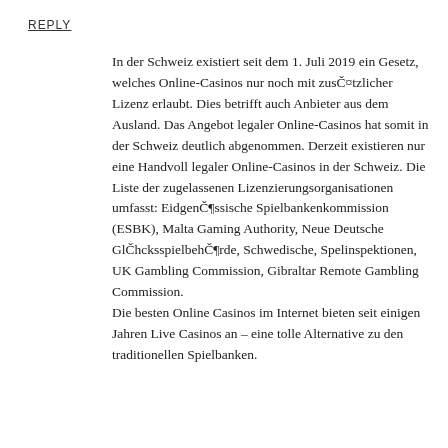REPLY
In der Schweiz existiert seit dem 1. Juli 2019 ein Gesetz, welches Online-Casinos nur noch mit zusätzlicher Lizenz erlaubt. Dies betrifft auch Anbieter aus dem Ausland. Das Angebot legaler Online-Casinos hat somit in der Schweiz deutlich abgenommen. Derzeit existieren nur eine Handvoll legaler Online-Casinos in der Schweiz. Die Liste der zugelassenen Lizenzierungsorganisationen umfasst: Eidgenössische Spielbankenkommission (ESBK), Malta Gaming Authority, Neue Deutsche Glücksspielbehörde, Schwedische, Spelinspektionen, UK Gambling Commission, Gibraltar Remote Gambling Commission. Die besten Online Casinos im Internet bieten seit einigen Jahren Live Casinos an – eine tolle Alternative zu den traditionellen Spielbanken.